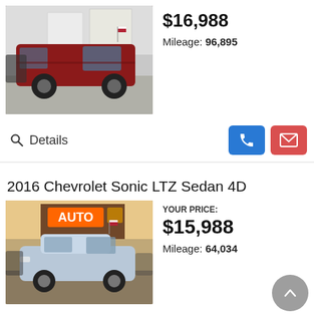[Figure (photo): Dark red/maroon Dodge minivan parked at a dealership lot]
$16,988
Mileage: 96,895
Details
2016 Chevrolet Sonic LTZ Sedan 4D
[Figure (photo): Silver Chevrolet Sonic sedan parked at AUTO dealership lot]
YOUR PRICE:
$15,988
Mileage: 64,034